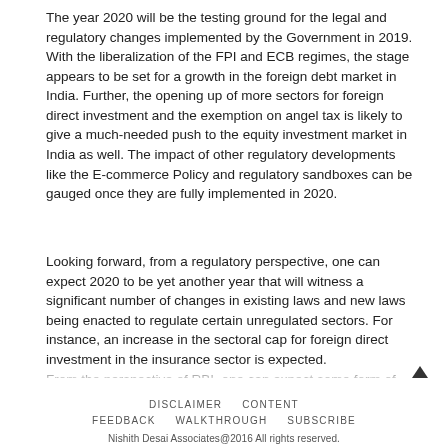The year 2020 will be the testing ground for the legal and regulatory changes implemented by the Government in 2019. With the liberalization of the FPI and ECB regimes, the stage appears to be set for a growth in the foreign debt market in India. Further, the opening up of more sectors for foreign direct investment and the exemption on angel tax is likely to give a much-needed push to the equity investment market in India as well. The impact of other regulatory developments like the E-commerce Policy and regulatory sandboxes can be gauged once they are fully implemented in 2020.
Looking forward, from a regulatory perspective, one can expect 2020 to be yet another year that will witness a significant number of changes in existing laws and new laws being enacted to regulate certain unregulated sectors. For instance, an increase in the sectoral cap for foreign direct investment in the insurance sector is expected.
From the perspective of RBI, one can expect some form of legislation for regulation of payment gateways and payment aggregators and for resolution of stressed assets. Further, the amendments to the intermediary guidelines (which deal with directions for entities that store or transmit data on behalf of other persons) have been under discussion for a substantial time and are expected to be notified in early 2020. These amendments are likely to increase the liabilities and responsibilities of the intermediaries with respect
DISCLAIMER   CONTENT
FEEDBACK   WALKTHROUGH   SUBSCRIBE
Nishith Desai Associates@2016 All rights reserved.